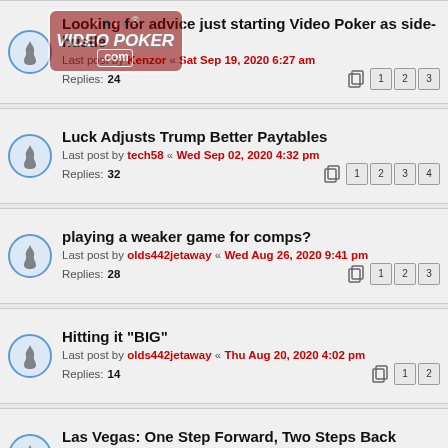Looking for advice just starting Video Poker as side-hustle | Last post by Kenzor « Sat Sep 19, 2020 6:27 am | Replies: 24
[Figure (logo): VideoPoker.com watermark logo with card suits]
Luck Adjusts Trump Better Paytables | Last post by tech58 « Wed Sep 02, 2020 4:32 pm | Replies: 32
playing a weaker game for comps? | Last post by olds442jetaway « Wed Aug 26, 2020 9:41 pm | Replies: 28
Hitting it "BIG" | Last post by olds442jetaway « Thu Aug 20, 2020 4:02 pm | Replies: 14
Las Vegas: One Step Forward, Two Steps Back | Last post by Vman96 « Wed Aug 19, 2020 11:55 pm | Replies: 33
[Figure (photo): Advertisement banner: Doctors Stunned! Mole & Skin Tag Removal]
This site uses cookies for personalized content and analytics. By continuing to use this site, you agree to this use. Close